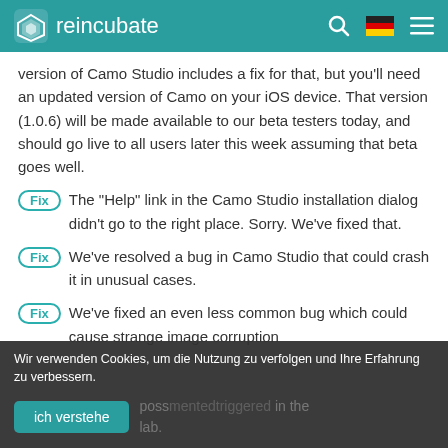reincubate
version of Camo Studio includes a fix for that, but you'll need an updated version of Camo on your iOS device. That version (1.0.6) will be made available to our beta testers today, and should go live to all users later this week assuming that beta goes well.
Fix The "Help" link in the Camo Studio installation dialog didn't go to the right place. Sorry. We've fixed that.
Fix We've resolved a bug in Camo Studio that could crash it in unusual cases.
Fix We've fixed an even less common bug which could cause strange image corruption
Wir verwenden Cookies, um die Nutzung zu verfolgen und Ihre Erfahrung zu verbessern.
ich verstehe
poss mented triggered in the lab.